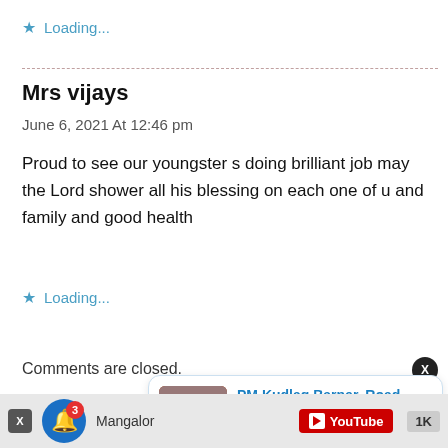Loading...
Mrs vijays
June 6, 2021 At 12:46 pm
Proud to see our youngster s doing brilliant job may the Lord shower all his blessing on each one of u and family and good health
Loading...
Comments are closed.
[Figure (screenshot): Notification popup showing 'PM Kudlag Barper, Road Repair Malpuver!' with thumbnail image and '3 hours ago' timestamp]
[Figure (screenshot): Bottom bar with notification bell showing badge 3, Mangalore text, YouTube button, and 1K count]